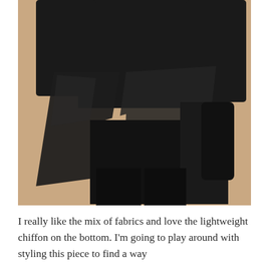[Figure (photo): A person viewed from behind/side wearing a black long-sleeve top with chiffon overlay bottom panels, black leggings, against a tan/beige background.]
I really like the mix of fabrics and love the lightweight chiffon on the bottom. I'm going to play around with styling this piece to find a way...